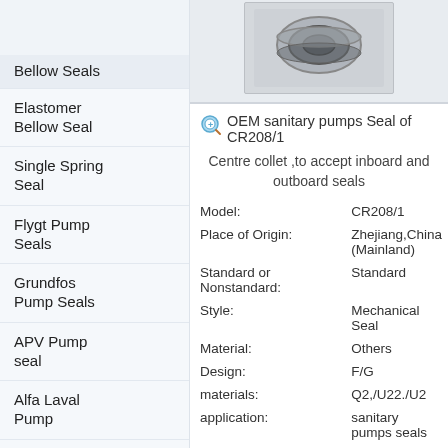Bellow Seals
Elastomer Bellow Seal
Single Spring Seal
Flygt Pump Seals
Grundfos Pump Seals
APV Pump seal
Alfa Laval Pump
fristam pump seal
other brand
[Figure (photo): Mechanical seal component photo showing a grey/black seal ring assembly]
OEM sanitary pumps Seal of CR208/1
Centre collet ,to accept inboard and outboard seals
| Property | Value |
| --- | --- |
| Model: | CR208/1 |
| Place of Origin: | Zhejiang,China (Mainland) |
| Standard or Nonstandard: | Standard |
| Style: | Mechanical Seal |
| Material: | Others |
| Design: | F/G |
| materials: | Q2,/U22./U2 |
| application: | sanitary pumps seals |
Contact Now
Add to Basket